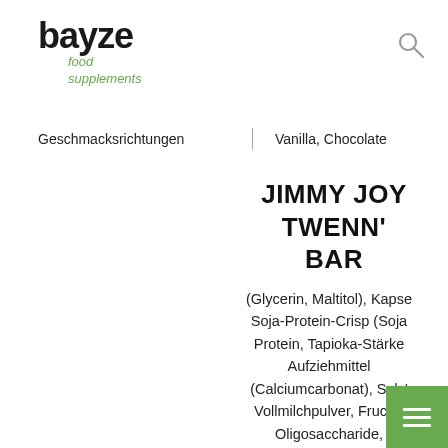[Figure (logo): bayze food supplements logo — 'bayze' in bold black, 'food supplements' in green italic below]
[Figure (other): Search icon (magnifying glass) in grey, top right]
Geschmacksrichtungen | Vanilla, Chocolate
JIMMY JOY TWENNY BAR
(Glycerin, Maltitol), Kapse Soja-Protein-Crisp (Soja Protein, Tapioka-Stärke Aufziehmittel (Calciumcarbonat), Salz Vollmilchpulver, Fructo Oligosaccharide, Maltodextrin, Soja-Prote Isolat, Molkeproteinkonze (Milch) enthält Emulgato
[Figure (other): Green hamburger menu button in bottom-right corner with three white horizontal lines]